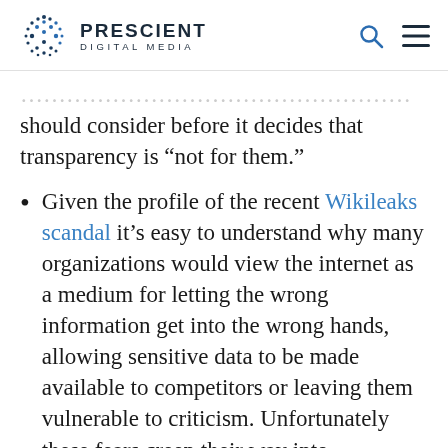PRESCIENT DIGITAL MEDIA
should consider before it decides that transparency is “not for them.”
Given the profile of the recent Wikileaks scandal it’s easy to understand why many organizations would view the internet as a medium for letting the wrong information get into the wrong hands, allowing sensitive data to be made available to competitors or leaving them vulnerable to criticism. Unfortunately these fears creep their way into organizations’ decisions to limit their level of transparency on the internet. Their